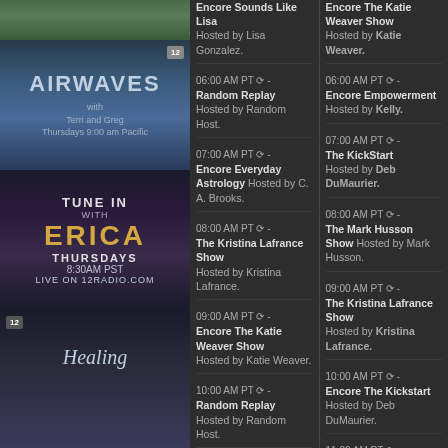[Figure (photo): Partial top image, cropped at top]
[Figure (photo): Airwaves with Terri and Greg, Thursdays 9:00 am Pacific, badge 12]
[Figure (photo): Tune In With Erica, Thursdays 8:30AM PST, Live on 12radio.com]
[Figure (photo): Healing show image with 12 badge]
06:00 AM PT - Random Replay Hosted by Random Host.
07:00 AM PT - Encore Everyday Astrology Hosted by C. A. Brooks.
08:00 AM PT - The Kristina Lafrance Show Hosted by Kristina Lafrance.
09:00 AM PT - Encore The Katie Weaver Show Hosted by Katie Weaver.
10:00 AM PT - Random Replay Hosted by Random Host.
12:00 PM PT - Encore Healing Apprentice Hosted by Louie Otero.
01:00 PM PT - Encore The Jay
Encore Sounds Like Lisa Hosted by Lisa Gonzalez.
Encore The Katie Weaver Show Hosted by Katie Weaver.
06:00 AM PT - Encore Empowerment Hosted by Kelly.
07:00 AM PT - The KickStart Hosted by Deb DuMaurier.
08:00 AM PT - The Mark Husson Show Hosted by Mark Husson.
09:00 AM PT - The Kristina Lafrance Show Hosted by Kristina Lafrance.
10:00 AM PT - Encore The Kickstart Hosted by Deb DuMaurier.
11:00 AM PT - Encore The Mark Husson Show Hosted by Mark Husson.
12:00 PM PT